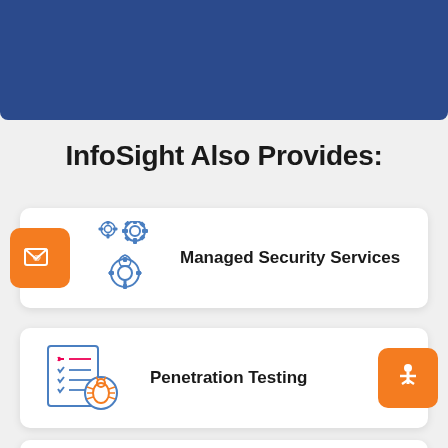[Figure (illustration): Dark blue header banner at top of page]
InfoSight Also Provides:
[Figure (infographic): White card with orange badge icon (email/envelope with gear icons) and text 'Managed Security Services']
[Figure (infographic): White card with document/bug icon and orange accessibility icon badge, text 'Penetration Testing']